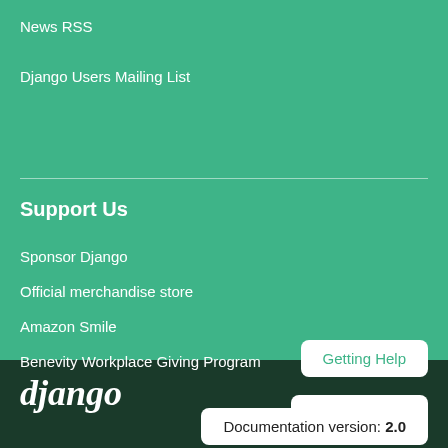News RSS
Django Users Mailing List
Support Us
Sponsor Django
Official merchandise store
Amazon Smile
Benevity Workplace Giving Program
Getting Help
Language: en
Documentation version: 2.0
django